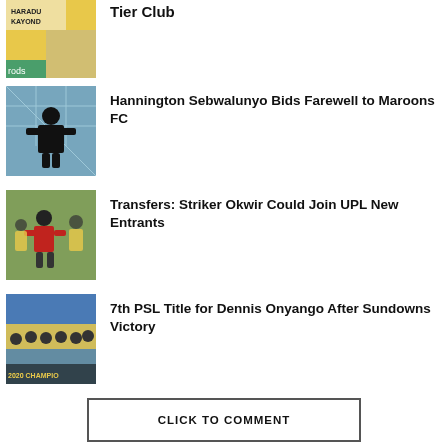[Figure (photo): Partial view of footballer in yellow kit with KAYOND text visible, cropped at top]
Tier Club
[Figure (photo): Goalkeeper in black kit standing in front of a goal net]
Hannington Sebwalunyo Bids Farewell to Maroons FC
[Figure (photo): Footballer in red kit surrounded by players in yellow kits]
Transfers: Striker Okwir Could Join UPL New Entrants
[Figure (photo): Team celebration photo with players in yellow and blue kits, CHAMPIONS 2020 banner visible]
7th PSL Title for Dennis Onyango After Sundowns Victory
CLICK TO COMMENT